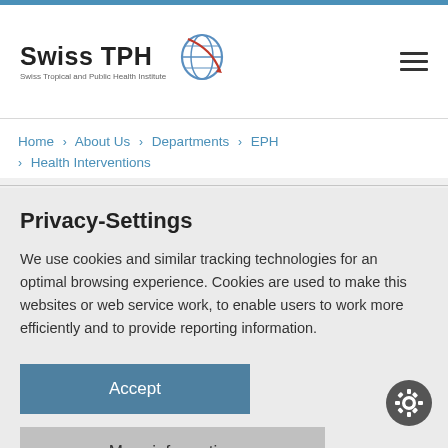Swiss TPH — Swiss Tropical and Public Health Institute
Home › About Us › Departments › EPH › Health Interventions
Privacy-Settings
We use cookies and similar tracking technologies for an optimal browsing experience. Cookies are used to make this websites or web service work, to enable users to work more efficiently and to provide reporting information.
Accept
More information